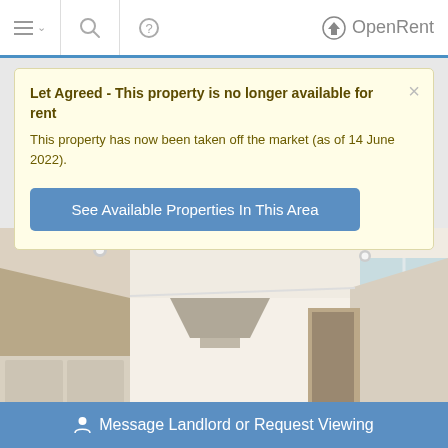OpenRent
Let Agreed - This property is no longer available for rent
This property has now been taken off the market (as of 14 June 2022).
See Available Properties In This Area
[Figure (photo): Interior kitchen photo of a bright, empty room with white cabinets, a stainless steel extractor hood, recessed ceiling lights, and a window with natural light on the right.]
Message Landlord or Request Viewing